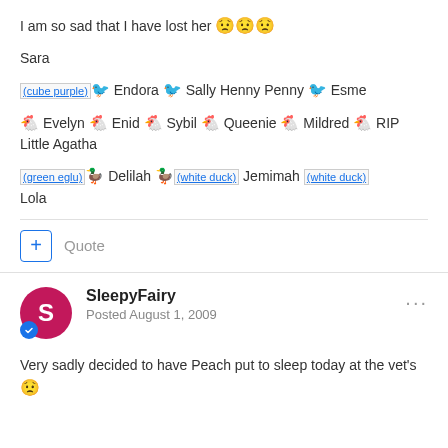I am so sad that I have lost her 😟😟😟
Sara
[image: (cube purple)] 🐦 Endora 🐦 Sally Henny Penny 🐦 Esme
🐔 Evelyn 🐔 Enid 🐔 Sybil 🐔 Queenie 🐔 Mildred 🐔 RIP Little Agatha
[image: (green eglu)] 🦆 Delilah 🦆 [image: (white duck)] Jemimah [image: (white duck)] Lola
Quote
SleepyFairy
Posted August 1, 2009
Very sadly decided to have Peach put to sleep today at the vet's 😟